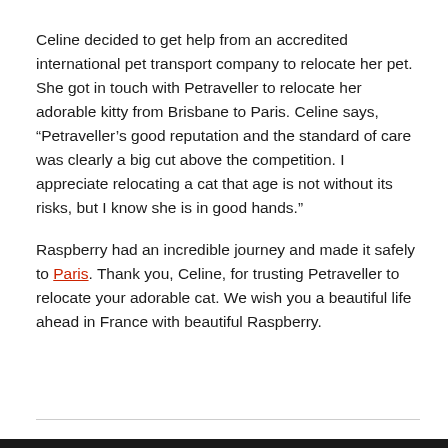Celine decided to get help from an accredited international pet transport company to relocate her pet. She got in touch with Petraveller to relocate her adorable kitty from Brisbane to Paris. Celine says, “Petraveller’s good reputation and the standard of care was clearly a big cut above the competition. I appreciate relocating a cat that age is not without its risks, but I know she is in good hands.”
Raspberry had an incredible journey and made it safely to Paris. Thank you, Celine, for trusting Petraveller to relocate your adorable cat. We wish you a beautiful life ahead in France with beautiful Raspberry.